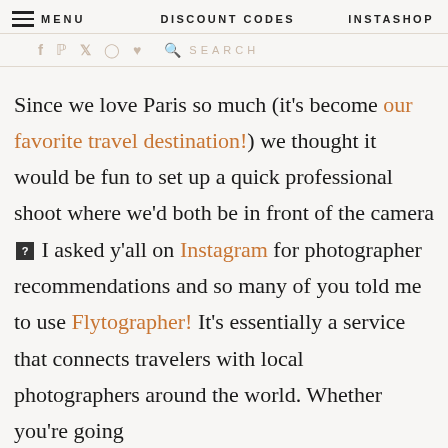MENU  DISCOUNT CODES  INSTASHOP
Since we love Paris so much (it's become our favorite travel destination!) we thought it would be fun to set up a quick professional shoot where we'd both be in front of the camera 🔲 I asked y'all on Instagram for photographer recommendations and so many of you told me to use Flytographer! It's essentially a service that connects travelers with local photographers around the world. Whether you're going